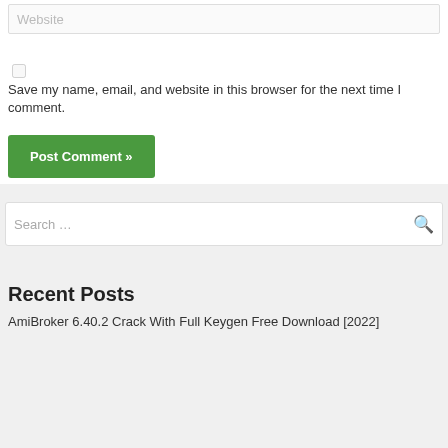Website
Save my name, email, and website in this browser for the next time I comment.
Post Comment »
Search …
Recent Posts
AmiBroker 6.40.2 Crack With Full Keygen Free Download [2022]